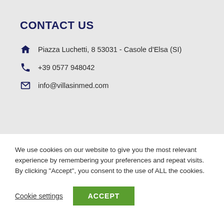CONTACT US
Piazza Luchetti, 8 53031 - Casole d'Elsa (SI)
+39 0577 948042
info@villasinmed.com
We use cookies on our website to give you the most relevant experience by remembering your preferences and repeat visits. By clicking “Accept”, you consent to the use of ALL the cookies.
Cookie settings
ACCEPT